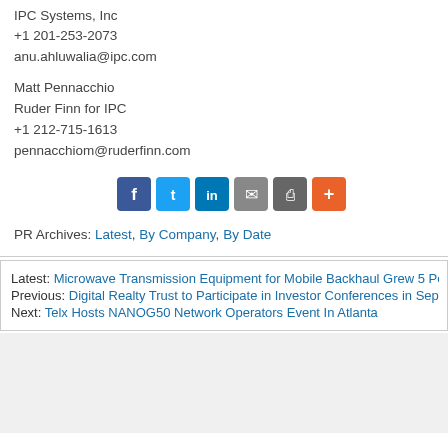IPC Systems, Inc
+1 201-253-2073
anu.ahluwalia@ipc.com
Matt Pennacchio
Ruder Finn for IPC
+1 212-715-1613
pennacchiom@ruderfinn.com
[Figure (other): Social sharing buttons: Facebook, Twitter, LinkedIn, Email, Print, More]
PR Archives: Latest, By Company, By Date
Latest: Microwave Transmission Equipment for Mobile Backhaul Grew 5 Percent
Previous: Digital Realty Trust to Participate in Investor Conferences in September
Next: Telx Hosts NANOG50 Network Operators Event In Atlanta